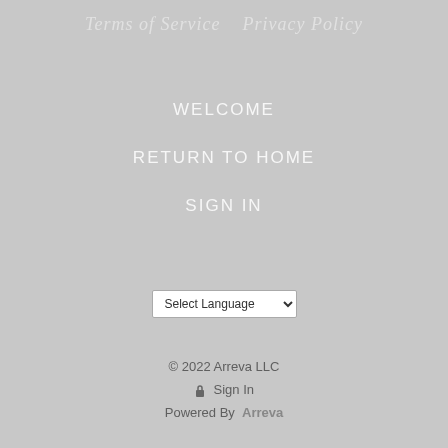Terms of Service   Privacy Policy
WELCOME
RETURN TO HOME
SIGN IN
Select Language
© 2022 Arreva LLC
Sign In
Powered By  Arreva